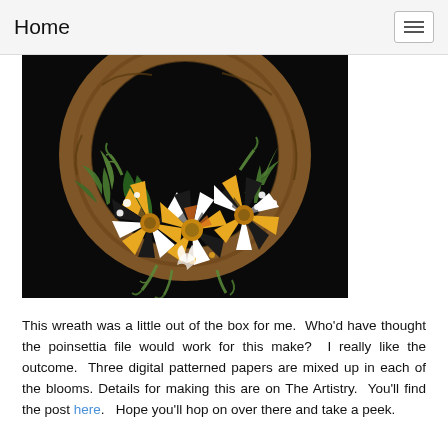Home
[Figure (photo): A grapevine wreath decorated with paper pinwheel flowers in black-and-white checkered and orange patterned paper, white small flowers, and green foliage, against a black background.]
This wreath was a little out of the box for me.  Who'd have thought the poinsettia file would work for this make?  I really like the outcome.  Three digital patterned papers are mixed up in each of the blooms. Details for making this are on The Artistry.  You'll find the post here.   Hope you'll hop on over there and take a peek.